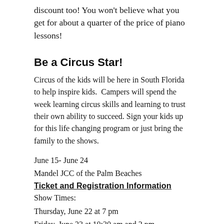discount too! You won't believe what you get for about a quarter of the price of piano lessons!
Be a Circus Star!
Circus of the kids will be here in South Florida to help inspire kids.  Campers will spend the week learning circus skills and learning to trust their own ability to succeed. Sign your kids up for this life changing program or just bring the family to the shows.
June 15- June 24
Mandel JCC of the Palm Beaches
Ticket and Registration Information
Show Times:
Thursday, June 22 at 7 pm
Friday, June 23 at 10:30 am and 2 pm
Tickets can be purchased in the JCC gym starting on June